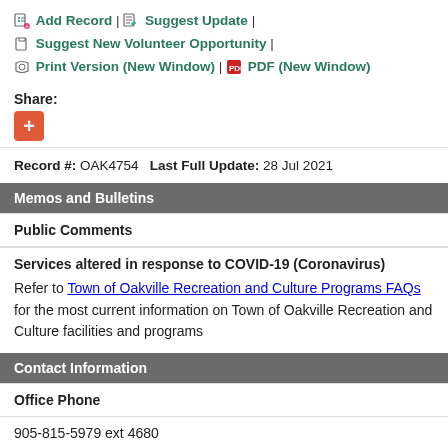Add Record | Suggest Update | Suggest New Volunteer Opportunity | Print Version (New Window) | PDF (New Window)
Share:
Record #: OAK4754    Last Full Update: 28 Jul 2021
Memos and Bulletins
Public Comments
Services altered in response to COVID-19 (Coronavirus)
Refer to Town of Oakville Recreation and Culture Programs FAQs for the most current information on Town of Oakville Recreation and Culture facilities and programs
Contact Information
Office Phone
905-815-5979 ext 4680
E-Mail
oakvilleyouth@oakville.ca